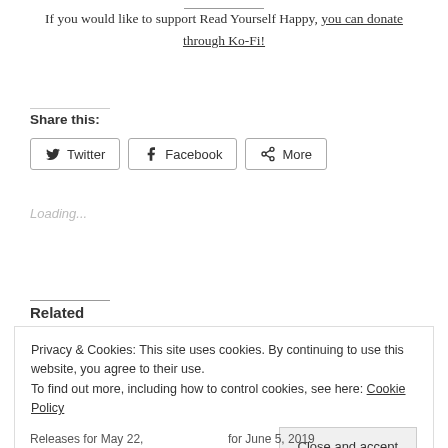If you would like to support Read Yourself Happy, you can donate through Ko-Fi!
Share this:
Twitter  Facebook  More
Loading...
Related
Privacy & Cookies: This site uses cookies. By continuing to use this website, you agree to their use.
To find out more, including how to control cookies, see here: Cookie Policy
Close and accept
Releases for May 22,
for June 5, 2019